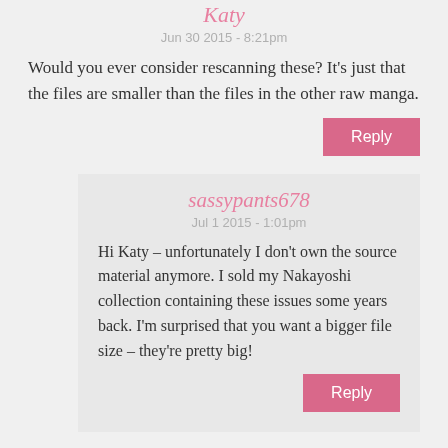Katy
Jun 30 2015 - 8:21pm
Would you ever consider rescanning these? It's just that the files are smaller than the files in the other raw manga.
sassypants678
Jul 1 2015 - 1:01pm
Hi Katy – unfortunately I don't own the source material anymore. I sold my Nakayoshi collection containing these issues some years back. I'm surprised that you want a bigger file size – they're pretty big!